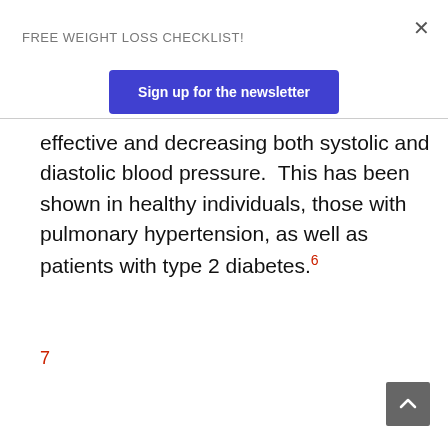FREE WEIGHT LOSS CHECKLIST!
Sign up for the newsletter
effective and decreasing both systolic and diastolic blood pressure.  This has been shown in healthy individuals, those with pulmonary hypertension, as well as patients with type 2 diabetes.6
7